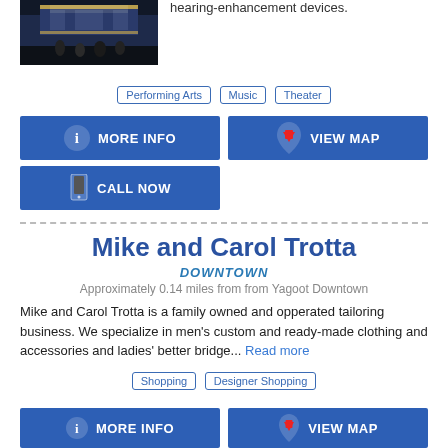[Figure (photo): Exterior of a theater building at night with people in front]
hearing-enhancement devices.
Performing Arts
Music
Theater
MORE INFO
VIEW MAP
CALL NOW
Mike and Carol Trotta
DOWNTOWN
Approximately 0.14 miles from from Yagoot Downtown
Mike and Carol Trotta is a family owned and opperated tailoring business. We specialize in men's custom and ready-made clothing and accessories and ladies' better bridge... Read more
Shopping
Designer Shopping
MORE INFO
VIEW MAP